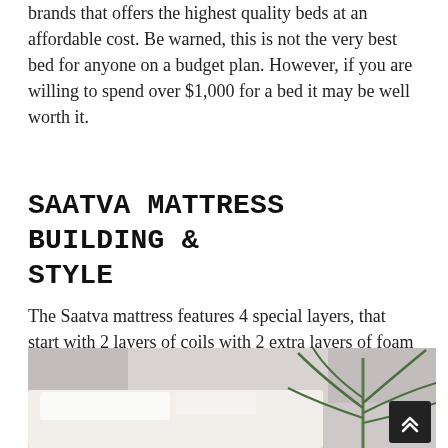brands that offers the highest quality beds at an affordable cost. Be warned, this is not the very best bed for anyone on a budget plan. However, if you are willing to spend over $1,000 for a bed it may be well worth it.
SAATVA MATTRESS BUILDING & STYLE
The Saatva mattress features 4 special layers, that start with 2 layers of coils with 2 extra layers of foam cushioning. Let's have a look at the fundamental construction of the mattress:
[Figure (photo): Photograph of a bed with white bedding and pillows, with a green palm plant in the background against a light grey wall.]